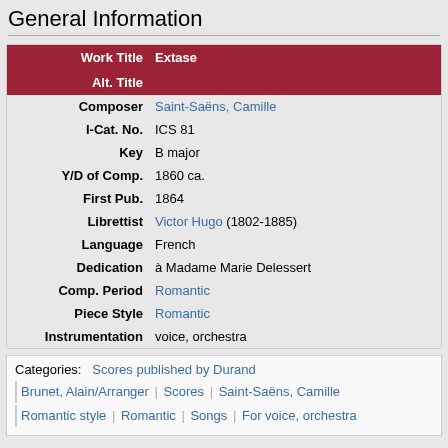General Information
| Field | Value |
| --- | --- |
| Work Title | Extase |
| Alt. Title |  |
| Composer | Saint-Saëns, Camille |
| I-Cat. No. | ICS 81 |
| Key | B major |
| Y/D of Comp. | 1860 ca. |
| First Pub. | 1864 |
| Librettist | Victor Hugo (1802-1885) |
| Language | French |
| Dedication | à Madame Marie Delessert |
| Comp. Period | Romantic |
| Piece Style | Romantic |
| Instrumentation | voice, orchestra |
Categories: Scores published by Durand | Brunet, Alain/Arranger | Scores | Saint-Saëns, Camille | Romantic style | Romantic | Songs | For voice, orchestra